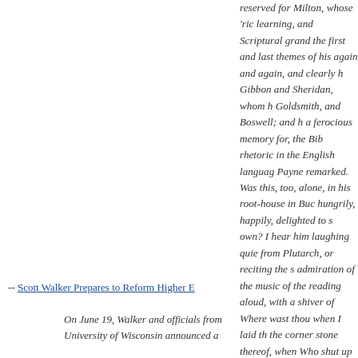reserved for Milton, whose 'richness of learning, and Scriptural grandeur' were the first and last themes of his discourse, again and again, and clearly he had read Gibbon and Sheridan, whom he rivalled; Goldsmith, and Boswell; and he had, too, a ferocious memory for, the Bible and rhetoric in the English language, as Payne remarked. Was this, too, self read alone, in his root-house in Bucks, reading hungrily, happily, delighted to share his own? I hear him laughing quietly, reading from Plutarch, or reciting the s admiration of the music of the reading aloud, with a shiver of Where wast thou when I laid th the corner stone thereof, when Who shut up the sea with doors issued out of the womb? Decla
-- Scott Walker Prepares to Reform Higher E
On June 19, Walker and officials from University of Wisconsin announced a